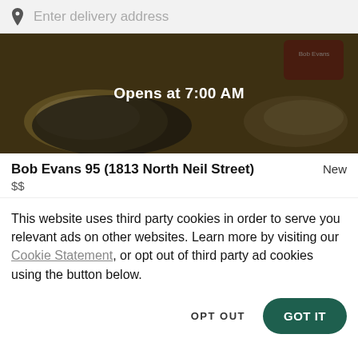Enter delivery address
[Figure (photo): Darkened food photo background showing scrambled eggs and other dishes, with 'Opens at 7:00 AM' text overlay]
Bob Evans 95 (1813 North Neil Street)  New
$$
This website uses third party cookies in order to serve you relevant ads on other websites. Learn more by visiting our Cookie Statement, or opt out of third party ad cookies using the button below.
OPT OUT
GOT IT